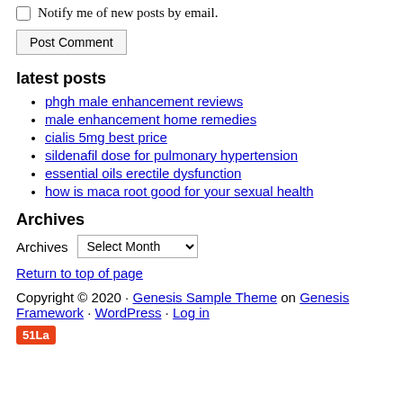Notify me of new posts by email.
Post Comment
latest posts
phgh male enhancement reviews
male enhancement home remedies
cialis 5mg best price
sildenafil dose for pulmonary hypertension
essential oils erectile dysfunction
how is maca root good for your sexual health
Archives
Archives  Select Month
Return to top of page
Copyright © 2020 · Genesis Sample Theme on Genesis Framework · WordPress · Log in